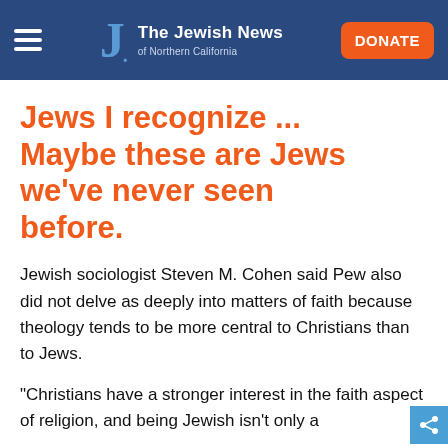The Jewish News of Northern California
Jews I recognize ... Maybe these are Jews we've never seen before.
Jewish sociologist Steven M. Cohen said Pew also did not delve as deeply into matters of faith because theology tends to be more central to Christians than to Jews.
“Christians have a stronger interest in the faith aspect of religion, and being Jewish isn’t only a